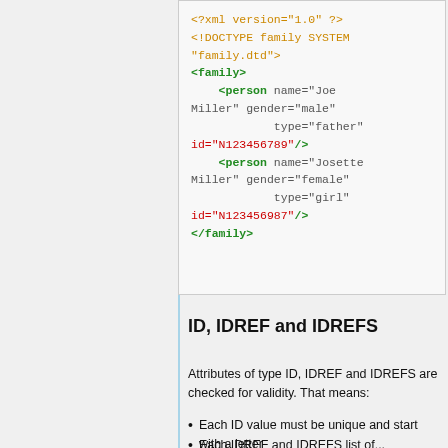[Figure (screenshot): XML code block showing a family DTD and XML document with person elements for Joe Miller (father) and Josette Miller (girl), syntax highlighted in orange, green, and red.]
ID, IDREF and IDREFS
Attributes of type ID, IDREF and IDREFS are checked for validity. That means:
Each ID value must be unique and start with a letter
Each IDREF and IDREFS list of...